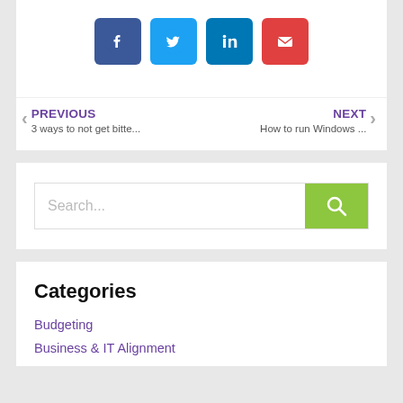[Figure (infographic): Social sharing icons: Facebook (blue), Twitter (light blue), LinkedIn (dark blue), Email (red)]
PREVIOUS
3 ways to not get bitte...
NEXT
How to run Windows ...
[Figure (screenshot): Search bar with text 'Search...' and a green search button with magnifying glass icon]
Categories
Budgeting
Business & IT Alignment